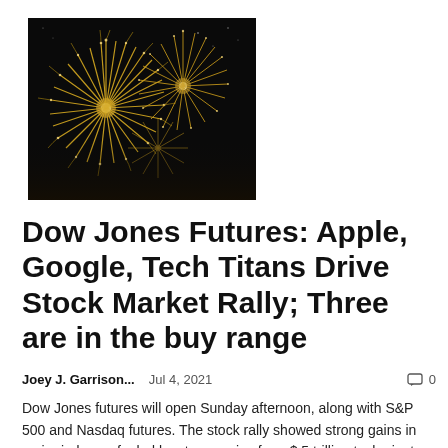[Figure (photo): A fireworks display against a dark night sky, showing bright golden and white bursts of fireworks.]
Dow Jones Futures: Apple, Google, Tech Titans Drive Stock Market Rally; Three are in the buy range
Joey J. Garrison...   Jul 4, 2021   💬 0
Dow Jones futures will open Sunday afternoon, along with S&P 500 and Nasdaq futures. The stock rally showed strong gains in major indexes, fueled by strong gains from $ 5 trillion tech giants: Apple stocks, Microsoft (MSFT)....